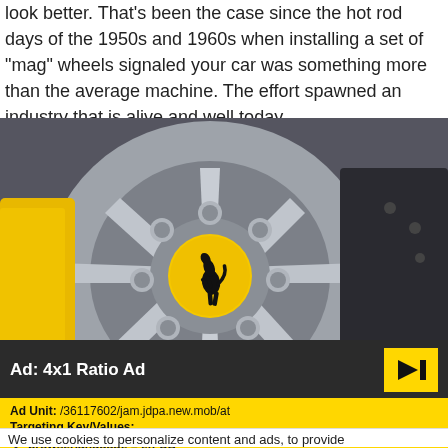look better. That's been the case since the hot rod days of the 1950s and 1960s when installing a set of "mag" wheels signaled your car was something more than the average machine. The effort spawned an industry that is alive and well today.
[Figure (photo): Close-up photograph of a Ferrari alloy wheel with yellow brake calipers visible, featuring the Ferrari prancing horse logo badge in the center cap, with chrome lug nuts and a dark vented brake disc in the background.]
Ad: 4x1 Ratio Ad
Ad Unit: /36117602/jam.jdpa.new.mob/at
Targeting Key/Values:
browserlanguage = en-US
prod = article
We use cookies to personalize content and ads, to provide